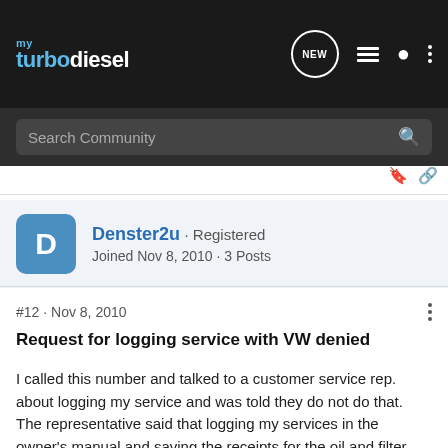myTurbodiesel
Search Community
Denster2u · Registered
Joined Nov 8, 2010 · 3 Posts
#12 · Nov 8, 2010
Request for logging service with VW denied
I called this number and talked to a customer service rep. about logging my service and was told they do not do that. The representative said that logging my services in the owner's manual and saving the receipts for the oil and filter would suffice as proof of maintenance regarding any warranty concerns.